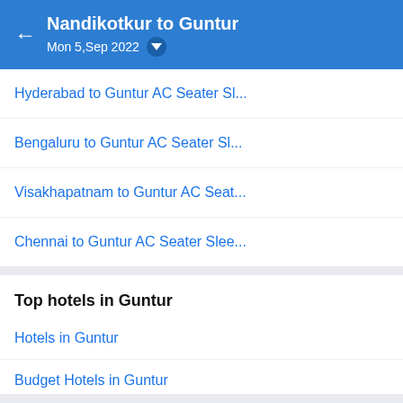Nandikotkur to Guntur
Mon 5,Sep 2022
Hyderabad to Guntur AC Seater Sl...
Bengaluru to Guntur AC Seater Sl...
Visakhapatnam to Guntur AC Seat...
Chennai to Guntur AC Seater Slee...
Top hotels in Guntur
Hotels in Guntur
Budget Hotels in Guntur
5 Star Hotels in Guntur
3 Star Hotels in Guntur